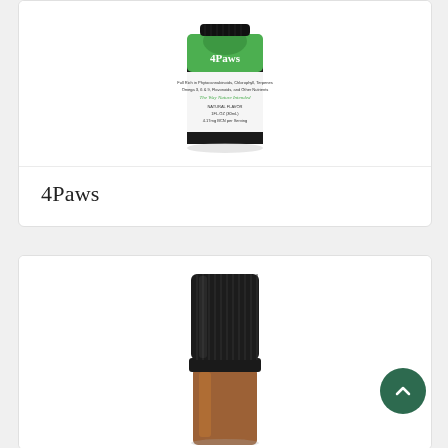[Figure (photo): 4Paws product bottle with green label showing the brand name '4Paws', natural flavor, 1 FL OZ (30mL), 4.17mg BCN per serving]
4Paws
[Figure (photo): Close-up of the top of an amber dropper bottle with black ribbed cap, partially cropped]